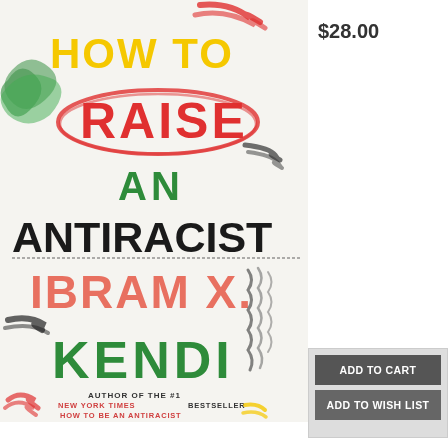[Figure (photo): Book cover of 'How to Raise an Antiracist' by Ibram X. Kendi. White background with colorful hand-drawn style text. 'HOW TO' in yellow, 'RAISE' in red with red oval around it, 'AN' in green, 'ANTIRACIST' in black bold, 'IBRAM X.' in salmon/coral, 'KENDI' in green bold. Decorative crayon/marker scribbles in green, red, black, yellow. Bottom text: AUTHOR OF THE #1 NEW YORK TIMES BESTSELLER HOW TO BE AN ANTIRACIST.]
$28.00
ADD TO CART
ADD TO WISH LIST